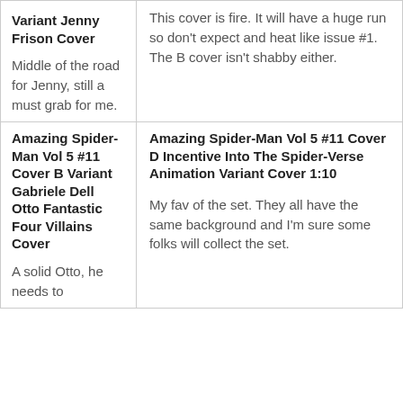| Variant Jenny Frison Cover

Middle of the road for Jenny, still a must grab for me. | This cover is fire. It will have a huge run so don't expect and heat like issue #1. The B cover isn't shabby either. |
| Amazing Spider-Man Vol 5 #11 Cover B Variant Gabriele Dell Otto Fantastic Four Villains Cover

A solid Otto, he needs to | Amazing Spider-Man Vol 5 #11 Cover D Incentive Into The Spider-Verse Animation Variant Cover 1:10

My fav of the set. They all have the same background and I'm sure some folks will collect the set. |